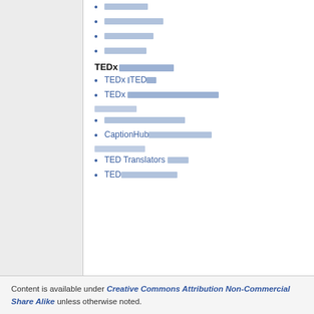░░░░░░░░░
░░░░░░░░░░░░░
░░░░░░░░░░
░░░░░░░░░
TEDx░░░░░░░░░
TEDx ░TED░░
TEDx ░░░░░░░░░░░░░░░
░░░░░░░░
░░░░░░░░░░░░░░░░
CaptionHub░░░░░░░░░░░░
░░░░░░░░░░
TED Translators ░░░░
TED░░░░░░░░░░
Content is available under Creative Commons Attribution Non-Commercial Share Alike unless otherwise noted.